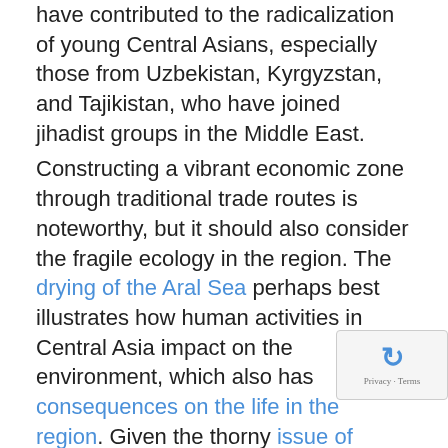have contributed to the radicalization of young Central Asians, especially those from Uzbekistan, Kyrgyzstan, and Tajikistan, who have joined jihadist groups in the Middle East.
Constructing a vibrant economic zone through traditional trade routes is noteworthy, but it should also consider the fragile ecology in the region. The drying of the Aral Sea perhaps best illustrates how human activities in Central Asia impact on the environment, which also has consequences on the life in the region. Given the thorny issue of water-sharing among the republics, China is likely to shun water projects in Central Asia. China may be more interested in the region's water politics if water were a commodity, such as for agricultural enterprise or trade channel. With greater value placed on the region's petroleum products, China would spare itself from more tension arising from a water dispute.
The BRI seeks to build on the legacy of the traditional Silk...